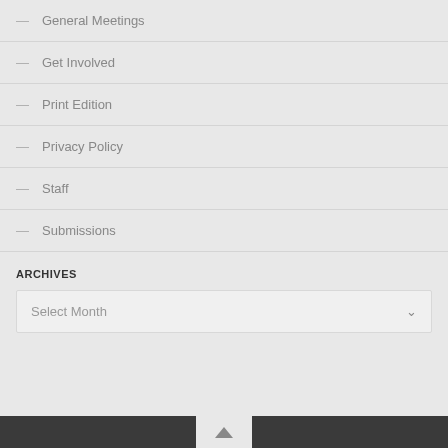— General Meetings
— Get Involved
— Print Edition
— Privacy Policy
— Staff
— Submissions
ARCHIVES
Select Month